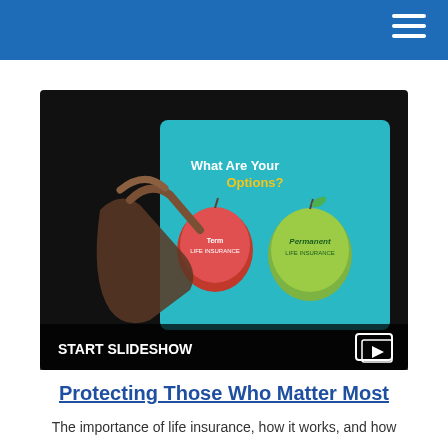[Figure (screenshot): A person's hand touching a tablet screen displaying a presentation slide with the text 'What Are Your Options?' and two apple graphics labeled 'Term Life Insurance' and 'Permanent Life Insurance'. Below the image is a 'START SLIDESHOW' label with a video/slideshow icon.]
Protecting Those Who Matter Most
The importance of life insurance, how it works, and how